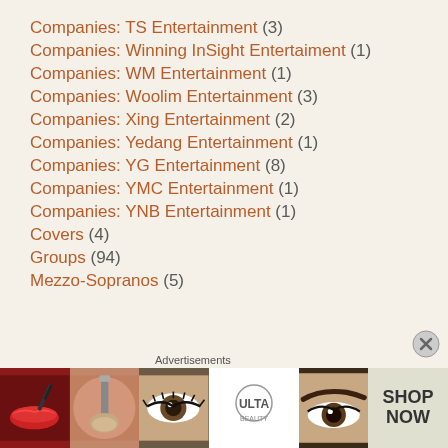Companies: TS Entertainment (3)
Companies: Winning InSight Entertaiment (1)
Companies: WM Entertainment (1)
Companies: Woolim Entertainment (3)
Companies: Xing Entertainment (2)
Companies: Yedang Entertainment (1)
Companies: YG Entertainment (8)
Companies: YMC Entertainment (1)
Companies: YNB Entertainment (1)
Covers (4)
Groups (94)
Mezzo-Sopranos (5)
[Figure (other): Advertisement banner for ULTA Beauty with makeup imagery and SHOP NOW button]